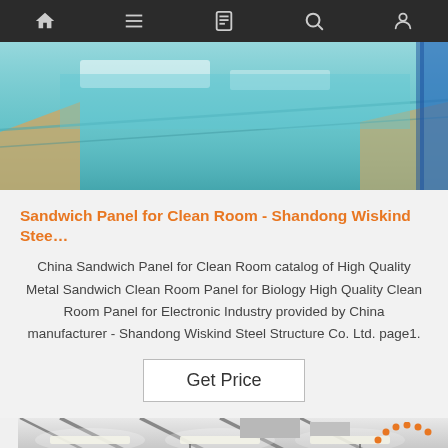[Figure (screenshot): Dark navigation bar with icons: home, hamburger menu, card/bookmark, search, and user profile]
[Figure (photo): Close-up photo of blue/teal colored metal sandwich panels stacked together, with brown protective packaging visible]
Sandwich Panel for Clean Room - Shandong Wiskind Stee…
China Sandwich Panel for Clean Room catalog of High Quality Metal Sandwich Clean Room Panel for Biology High Quality Clean Room Panel for Electronic Industry provided by China manufacturer - Shandong Wiskind Steel Structure Co. Ltd. page1.
Get Price
[Figure (photo): Interior of an industrial warehouse or factory building with white metal sandwich panel walls and ceiling, structural steel beams, and fluorescent lighting. An orange TOP badge with dots is overlaid in the top right.]